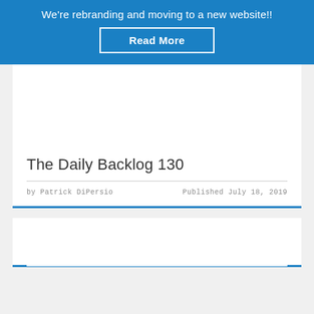We're rebranding and moving to a new website!!
Read More
The Daily Backlog 130
by Patrick DiPersio   Published July 18, 2019